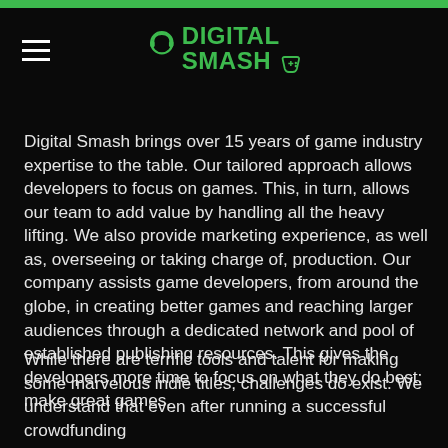Digital Smash
Digital Smash brings over 15 years of game industry expertise to the table. Our tailored approach allows developers to focus on games. This, in turn, allows our team to add value by handling all the heavy lifting. We also provide marketing experience, as well as, overseeing or taking charge of, production. Our company assists game developers, from around the globe, in creating better games and reaching larger audiences through a dedicated network and pool of established publishing resources. This gives the developers more time to focus on what they do best: make great games.
While there are terrific tools and talent for making some marvelous indie titles, challenges do exist. We understand that even after running a successful crowdfunding